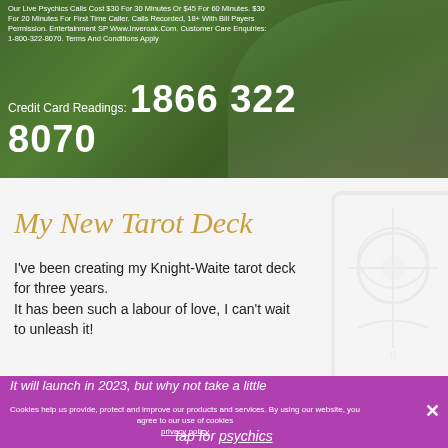[Figure (photo): Psychic woman in green patterned top against green bokeh background, overlaid with white text about psychic calls and credit card readings]
Our Live Psychics Calls Cost $30 For 30 Minutes Or $45 For 60 Minutes. $30 For 20 Minutes For First Time Caller. Calls Recorded, 18+ With Bill Payers Permission. Entertainment SP Www.Inveroak.Com. Customer Care Enquiries: 1-800-322-8070. Terms And Conditions Apply
Credit Card Readings: 1866 322 8070
My New Tarot Deck
I've been creating my Knight-Waite tarot deck for three years.
It has been such a labour of love, I can't wait to unleash it!
It will launch in 2023, but why not take a little
Cookies help us provide, protect and improve our products and services. By using our website, you agree to our use of cookies
privacy policy
tap for psychics